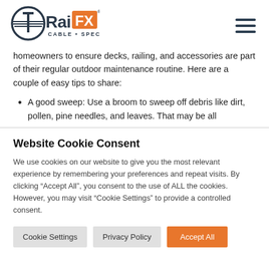[Figure (logo): RailFX Cable Specialty logo with circular emblem and orange FX badge]
homeowners to ensure decks, railing, and accessories are part of their regular outdoor maintenance routine. Here are a couple of easy tips to share:
A good sweep: Use a broom to sweep off debris like dirt, pollen, pine needles, and leaves. That may be all
Website Cookie Consent
We use cookies on our website to give you the most relevant experience by remembering your preferences and repeat visits. By clicking “Accept All”, you consent to the use of ALL the cookies. However, you may visit “Cookie Settings” to provide a controlled consent.
Cookie Settings | Privacy Policy | Accept All